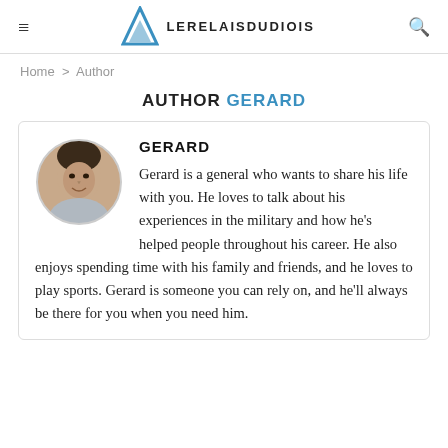LERELAISDUDIOIS
Home > Author
AUTHOR GERARD
GERARD

Gerard is a general who wants to share his life with you. He loves to talk about his experiences in the military and how he's helped people throughout his career. He also enjoys spending time with his family and friends, and he loves to play sports. Gerard is someone you can rely on, and he'll always be there for you when you need him.
[Figure (photo): Circular headshot of a young man with dark hair, smiling, wearing a light-colored shirt.]